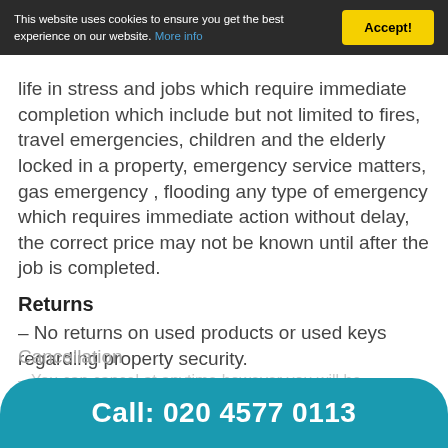This website uses cookies to ensure you get the best experience on our website. More info | Accept!
life in stress and jobs which require immediate completion which include but not limited to fires, travel emergencies, children and the elderly locked in a property, emergency service matters, gas emergency , flooding any type of emergency which requires immediate action without delay, the correct price may not be known until after the job is completed.
Returns
– No returns on used products or used keys regarding property security.
Cancellation
– You can cancel at anytime however you will be
Call: 020 4577 0113